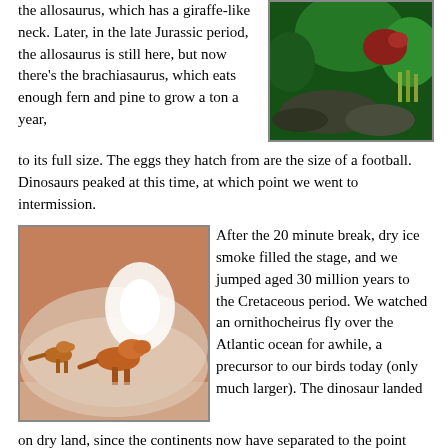the allosaurus, which has a giraffe-like neck. Later, in the late Jurassic period, the allosaurus is still here, but now there's the brachiasaurus, which eats enough fern and pine to grow a ton a year, to its full size. The eggs they hatch from are the size of a football. Dinosaurs peaked at this time, at which point we went to intermission.
[Figure (photo): Photo of dinosaur scene with green jungle foliage and rocks, red creature visible in background]
[Figure (photo): Photo of two small dinosaurs on a misty/smoky stage with a bright white light in the background]
After the 20 minute break, dry ice smoke filled the stage, and we jumped aged 30 million years to the Cretaceous period. We watched an ornithocheirus fly over the Atlantic ocean for awhile, a precursor to our birds today (only much larger). The dinosaur landed on dry land, since the continents now have separated to the point where there is Europe and the Americas, only to get eaten by three Utah raptors. Bummer.
The mid-Cretaceous period
[Figure (photo): Photo showing colorful dinosaur scene with blue and pink lighting]